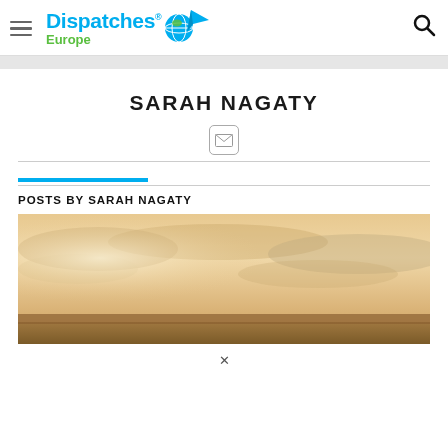Dispatches Europe — website header with logo, hamburger menu, and search icon
SARAH NAGATY
[Figure (other): Email/contact icon — a small envelope icon inside a rounded-corner square border]
POSTS BY SARAH NAGATY
[Figure (photo): Wide landscape photo showing a hazy desert or beach scene with sandy ground and an overcast warm-toned sky]